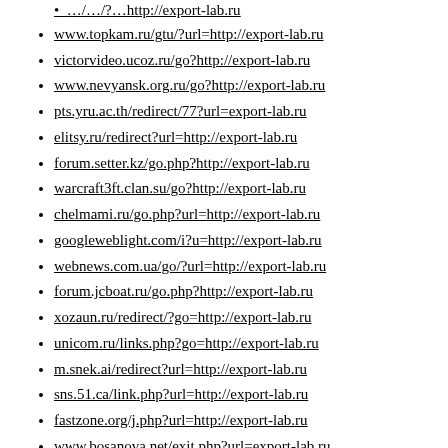www.topkam.ru/gtu/?url=http://export-lab.ru
victorvideo.ucoz.ru/go?http://export-lab.ru
www.nevyansk.org.ru/go?http://export-lab.ru
pts.yru.ac.th/redirect/77?url=export-lab.ru
elitsy.ru/redirect?url=http://export-lab.ru
forum.setter.kz/go.php?http://export-lab.ru
warcraft3ft.clan.su/go?http://export-lab.ru
chelmami.ru/go.php?url=http://export-lab.ru
googleweblight.com/i?u=http://export-lab.ru
webnews.com.ua/go/?url=http://export-lab.ru
forum.jcboat.ru/go.php?http://export-lab.ru
xozaun.ru/redirect/?go=http://export-lab.ru
unicom.ru/links.php?go=http://export-lab.ru
m.snek.ai/redirect?url=http://export-lab.ru
sns.51.ca/link.php?url=http://export-lab.ru
fastzone.org/j.php?url=http://export-lab.ru
www.bosanova.net/exit.php?url=export-lab.ru
thefw.com/redirect?url=http://export-lab.ru